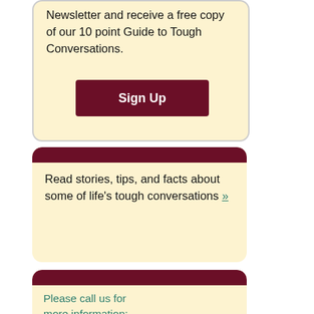Newsletter and receive a free copy of our 10 point Guide to Tough Conversations.
Sign Up
Read stories, tips, and facts about some of life's tough conversations »
Please call us for more information:
202-359-6141